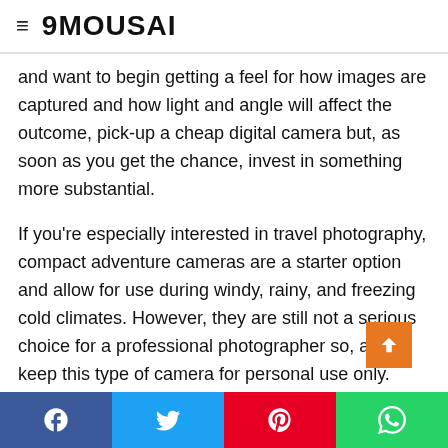9MOUSAI
and want to begin getting a feel for how images are captured and how light and angle will affect the outcome, pick-up a cheap digital camera but, as soon as you get the chance, invest in something more substantial.
If you're especially interested in travel photography, compact adventure cameras are a starter option and allow for use during windy, rainy, and freezing cold climates. However, they are still not a serious choice for a professional photographer so, again, keep this type of camera for personal use only.
Advanced compact point